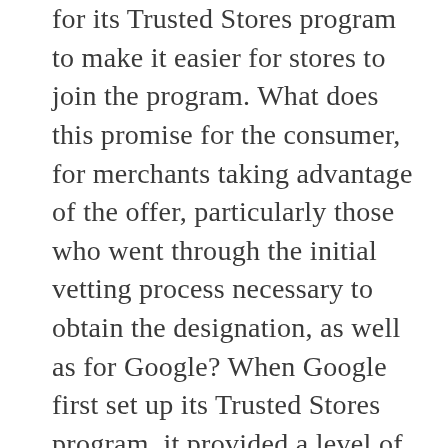for its Trusted Stores program to make it easier for stores to join the program. What does this promise for the consumer, for merchants taking advantage of the offer, particularly those who went through the initial vetting process necessary to obtain the designation, as well as for Google? When Google first set up its Trusted Stores program, it provided a level of purchase protection for consumers and a conversion enhancement incentive for merchants displaying the Trusted Stores badge. The program badge provides consumers a level of confidence prior to purchase, and for consumers opting-in at time of